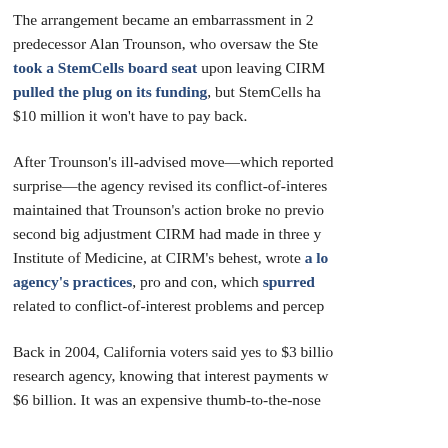The arrangement became an embarrassment in 2... predecessor Alan Trounson, who oversaw the Ste... took a StemCells board seat upon leaving CIRM... pulled the plug on its funding, but StemCells ha... $10 million it won't have to pay back.
After Trounson's ill-advised move—which reported... surprise—the agency revised its conflict-of-interes... maintained that Trounson's action broke no previo... second big adjustment CIRM had made in three y... Institute of Medicine, at CIRM's behest, wrote a lo... agency's practices, pro and con, which spurred ... related to conflict-of-interest problems and percep...
Back in 2004, California voters said yes to $3 billio... research agency, knowing that interest payments w... $6 billion. It was an expensive thumb-to-the-nose...